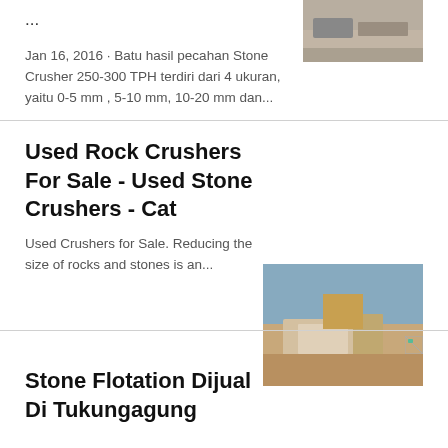...
[Figure (photo): Aerial view of a quarry or stone crushing site with machinery]
Jan 16, 2016 · Batu hasil pecahan Stone Crusher 250-300 TPH terdiri dari 4 ukuran, yaitu 0-5 mm , 5-10 mm, 10-20 mm dan...
Used Rock Crushers For Sale - Used Stone Crushers - Cat
[Figure (photo): Used rock crusher machinery on a construction site with an excavator in the background]
Used Crushers for Sale. Reducing the size of rocks and stones is an...
[Figure (other): Broken image icon]
Stone Flotation Dijual Di Tukungagung
[Figure (photo): Industrial stone flotation equipment in blue color against a mountainous background]